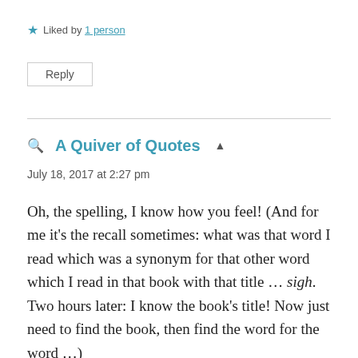★ Liked by 1 person
Reply
A Quiver of Quotes
July 18, 2017 at 2:27 pm
Oh, the spelling, I know how you feel! (And for me it's the recall sometimes: what was that word I read which was a synonym for that other word which I read in that book with that title … sigh. Two hours later: I know the book's title! Now just need to find the book, then find the word for the word …)